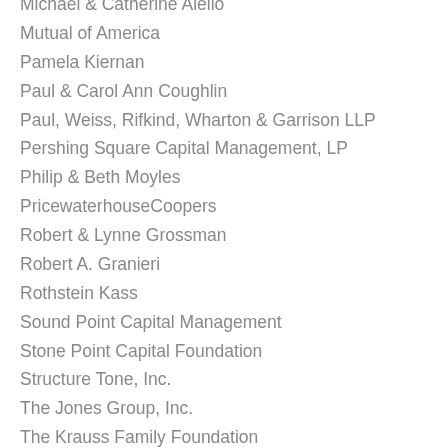Michael & Catherine Aiello
Mutual of America
Pamela Kiernan
Paul & Carol Ann Coughlin
Paul, Weiss, Rifkind, Wharton & Garrison LLP
Pershing Square Capital Management, LP
Philip & Beth Moyles
PricewaterhouseCoopers
Robert & Lynne Grossman
Robert A. Granieri
Rothstein Kass
Sound Point Capital Management
Stone Point Capital Foundation
Structure Tone, Inc.
The Jones Group, Inc.
The Krauss Family Foundation
The Pecora Family
The Rusty Staub Foundation
The Riley Family Foundation